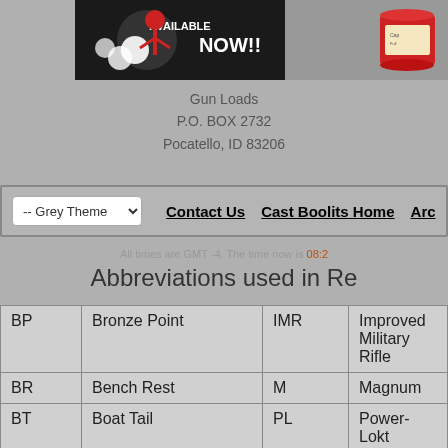[Figure (illustration): Top banner with promotional image showing NOW!! text on dark background, and a red cylindrical object on the right]
Gun Loads
P.O. BOX 2732
Pocatello, ID 83206
-- Grey Theme   Contact Us   Cast Boolits Home   Arc
All times are GMT -4. The time now is 08:2
Abbreviations used in Re
| BP | Bronze Point | IMR | Improved Military Rifle |
| BR | Bench Rest | M | Magnum |
| BT | Boat Tail | PL | Power-Lokt |
| C | Compressed Charge | PR | Primer |
| HP | Hollow Point | PSPCL | Pointed Soft Point "Core-Lokt" |